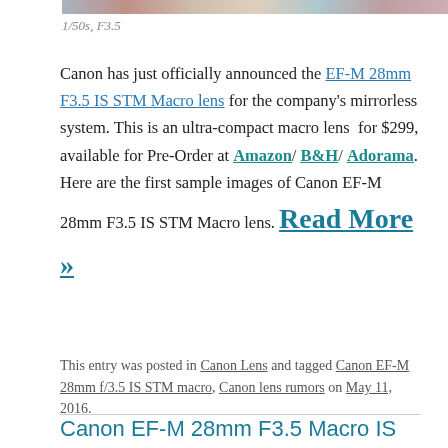[Figure (photo): Partial strip of a photo at the top of the page]
1/50s, F3.5
Canon has just officially announced the EF-M 28mm F3.5 IS STM Macro lens for the company's mirrorless system. This is an ultra-compact macro lens for $299, available for Pre-Order at Amazon/ B&H/ Adorama. Here are the first sample images of Canon EF-M 28mm F3.5 IS STM Macro lens. Read More »
This entry was posted in Canon Lens and tagged Canon EF-M 28mm f/3.5 IS STM macro, Canon lens rumors on May 11, 2016.
Canon EF-M 28mm F3.5 Macro IS STM Lens Announced, Price $299, Available for